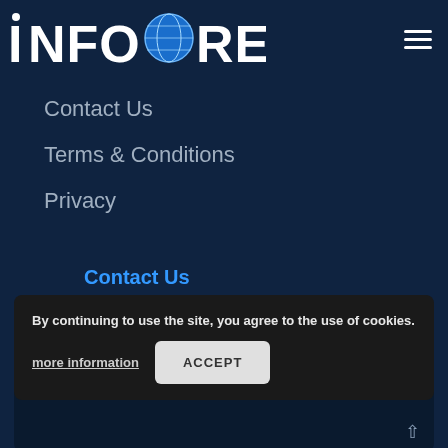[Figure (logo): INFOCORE logo with globe icon replacing the letter O, white text on dark navy background, with dot above the I]
Contact Us
Terms & Conditions
Privacy
Contact Us
By continuing to use the site, you agree to the use of cookies.
more information
ACCEPT
60439 Frankfurt am
GERMANY
+49 69 505 064 215